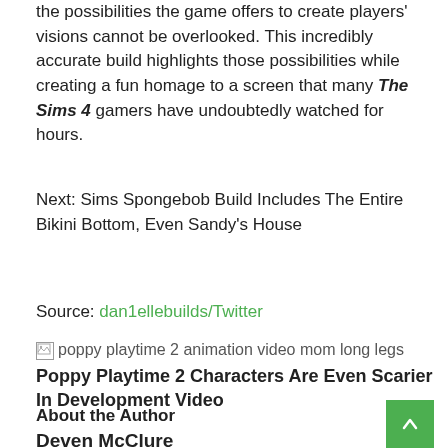the possibilities the game offers to create players' visions cannot be overlooked. This incredibly accurate build highlights those possibilities while creating a fun homage to a screen that many The Sims 4 gamers have undoubtedly watched for hours.
Next: Sims Spongebob Build Includes The Entire Bikini Bottom, Even Sandy's House
Source: dan1ellebuilds/Twitter
[Figure (photo): Broken image placeholder with alt text: poppy playtime 2 animation video mom long legs]
Poppy Playtime 2 Characters Are Even Scarier In Development Video
About the Author
Deven McClure